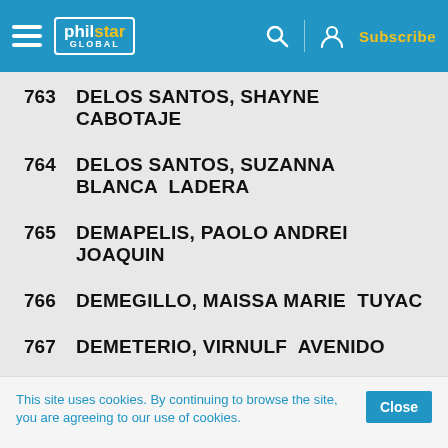philstar GLOBAL — Subscribe
763  DELOS SANTOS, SHAYNE  CABOTAJE
764  DELOS SANTOS, SUZANNA BLANCA  LADERA
765  DEMAPELIS, PAOLO ANDREI  JOAQUIN
766  DEMEGILLO, MAISSA MARIE  TUYAC
767  DEMETERIO, VIRNULF  AVENIDO
768  DENOGA, JESSE MARICE  BACANI
This site uses cookies. By continuing to browse the site, you are agreeing to our use of cookies.